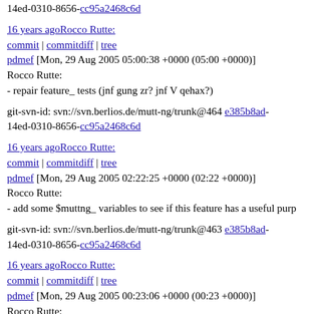14ed-0310-8656-cc95a2468c6d
16 years agoRocco Rutte:
commit | commitdiff | tree
pdmef [Mon, 29 Aug 2005 05:00:38 +0000 (05:00 +0000)]
Rocco Rutte:
- repair feature_ tests (jnf gung zr? jnf V qehax?)

git-svn-id: svn://svn.berlios.de/mutt-ng/trunk@464 e385b8ad-14ed-0310-8656-cc95a2468c6d
16 years agoRocco Rutte:
commit | commitdiff | tree
pdmef [Mon, 29 Aug 2005 02:22:25 +0000 (02:22 +0000)]
Rocco Rutte:
- add some $muttng_ variables to see if this feature has a useful purp

git-svn-id: svn://svn.berlios.de/mutt-ng/trunk@463 e385b8ad-14ed-0310-8656-cc95a2468c6d
16 years agoRocco Rutte:
commit | commitdiff | tree
pdmef [Mon, 29 Aug 2005 00:23:06 +0000 (00:23 +0000)]
Rocco Rutte:
- implement feature request #685 via $editor_headers